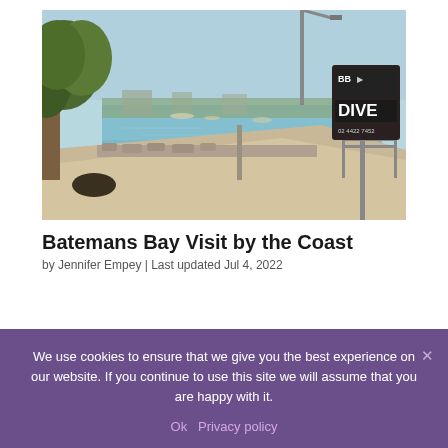[Figure (photo): Waterfront scene at Batemans Bay showing a pedestrian path along a calm blue waterway, trees on the left, a dive shop sign (reading DIVE) on the right, boats visible in the background, light blue sky.]
Batemans Bay Visit by the Coast
by Jennifer Empey | Last updated Jul 4, 2022
We use cookies to ensure that we give you the best experience on our website. If you continue to use this site we will assume that you are happy with it.
Ok  Privacy policy